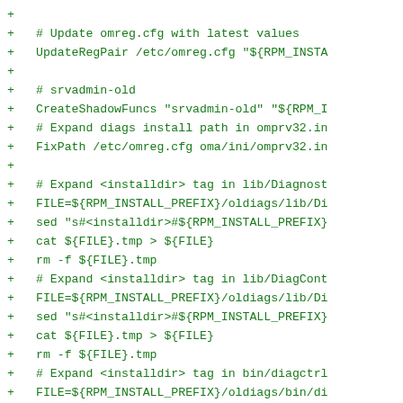+
+       #  Update omreg.cfg with latest values
+       UpdateRegPair /etc/omreg.cfg "${RPM_INSTA
+
+       # srvadmin-old
+       CreateShadowFuncs "srvadmin-old" "${RPM_I
+       # Expand diags install path in omprv32.in
+       FixPath /etc/omreg.cfg oma/ini/omprv32.in
+
+       # Expand <installdir> tag in lib/Diagnost
+       FILE=${RPM_INSTALL_PREFIX}/oldiags/lib/Di
+       sed "s#<installdir>#${RPM_INSTALL_PREFIX}
+         cat ${FILE}.tmp > ${FILE}
+       rm -f ${FILE}.tmp
+       # Expand <installdir> tag in lib/DiagCont
+       FILE=${RPM_INSTALL_PREFIX}/oldiags/lib/Di
+       sed "s#<installdir>#${RPM_INSTALL_PREFIX}
+         cat ${FILE}.tmp > ${FILE}
+       rm -f ${FILE}.tmp
+       # Expand <installdir> tag in bin/diagctrl
+       FILE=${RPM_INSTALL_PREFIX}/oldiags/bin/di
+       sed "s#<installdir>#${RPM_INSTALL_PREFIX}